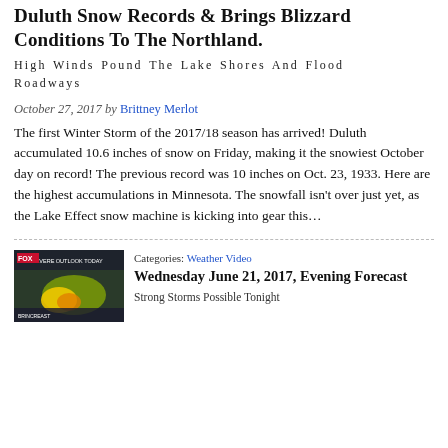Duluth Snow Records & Brings Blizzard Conditions To The Northland.
High Winds Pound The Lake Shores And Flood Roadways
October 27, 2017 by Brittney Merlot
The first Winter Storm of the 2017/18 season has arrived! Duluth accumulated 10.6 inches of snow on Friday, making it the snowiest October day on record! The previous record was 10 inches on Oct. 23, 1933. Here are the highest accumulations in Minnesota. The snowfall isn't over just yet, as the Lake Effect snow machine is kicking into gear this…
Categories: Weather Video
Wednesday June 21, 2017, Evening Forecast
Strong Storms Possible Tonight